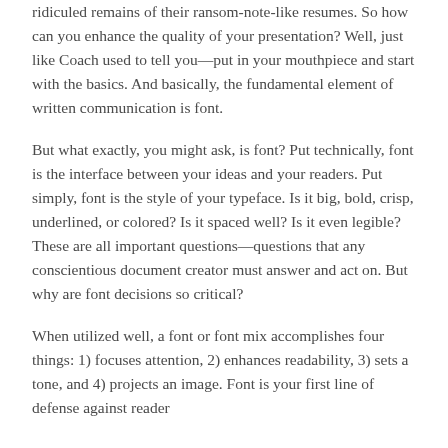ridiculed remains of their ransom-note-like resumes. So how can you enhance the quality of your presentation? Well, just like Coach used to tell you—put in your mouthpiece and start with the basics. And basically, the fundamental element of written communication is font.
But what exactly, you might ask, is font? Put technically, font is the interface between your ideas and your readers. Put simply, font is the style of your typeface. Is it big, bold, crisp, underlined, or colored? Is it spaced well? Is it even legible? These are all important questions—questions that any conscientious document creator must answer and act on. But why are font decisions so critical?
When utilized well, a font or font mix accomplishes four things: 1) focuses attention, 2) enhances readability, 3) sets a tone, and 4) projects an image. Font is your first line of defense against reader